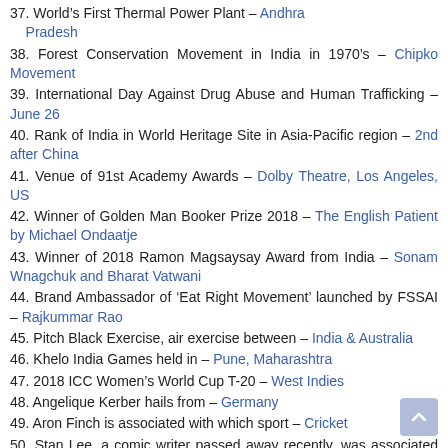37. World's First Thermal Power Plant – Andhra Pradesh
38. Forest Conservation Movement in India in 1970's – Chipko Movement
39. International Day Against Drug Abuse and Human Trafficking – June 26
40. Rank of India in World Heritage Site in Asia-Pacific region – 2nd after China
41. Venue of 91st Academy Awards – Dolby Theatre, Los Angeles, US
42. Winner of Golden Man Booker Prize 2018 – The English Patient by Michael Ondaatje
43. Winner of 2018 Ramon Magsaysay Award from India – Sonam Wnagchuk and Bharat Vatwani
44. Brand Ambassador of 'Eat Right Movement' launched by FSSAI – Rajkummar Rao
45. Pitch Black Exercise, air exercise between – India & Australia
46. Khelo India Games held in – Pune, Maharashtra
47. 2018 ICC Women's World Cup T-20 – West Indies
48. Angelique Kerber hails from – Germany
49. Aron Finch is associated with which sport – Cricket
50. Stan Lee, a comic writer passed away recently, was associated with – Marvel Comics